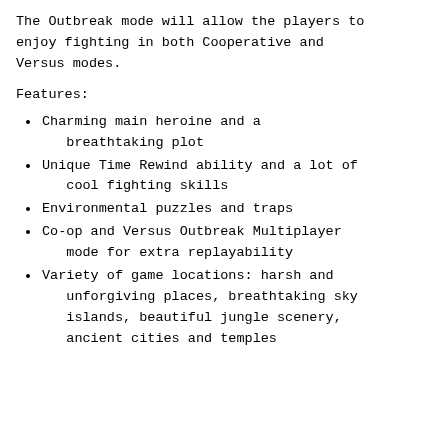The Outbreak mode will allow the players to enjoy fighting in both Cooperative and Versus modes.
Features:
Charming main heroine and a breathtaking plot
Unique Time Rewind ability and a lot of cool fighting skills
Environmental puzzles and traps
Co-op and Versus Outbreak Multiplayer mode for extra replayability
Variety of game locations: harsh and unforgiving places, breathtaking sky islands, beautiful jungle scenery, ancient cities and temples